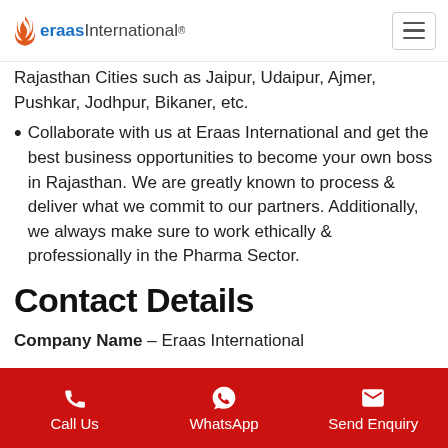eraas International®
Rajasthan Cities such as Jaipur, Udaipur, Ajmer, Pushkar, Jodhpur, Bikaner, etc.
Collaborate with us at Eraas International and get the best business opportunities to become your own boss in Rajasthan. We are greatly known to process & deliver what we commit to our partners. Additionally, we always make sure to work ethically & professionally in the Pharma Sector.
Contact Details
Company Name – Eraas International
Contact Number – +91 98181 29750, 011-45644901
Call Us | WhatsApp | Send Enquiry